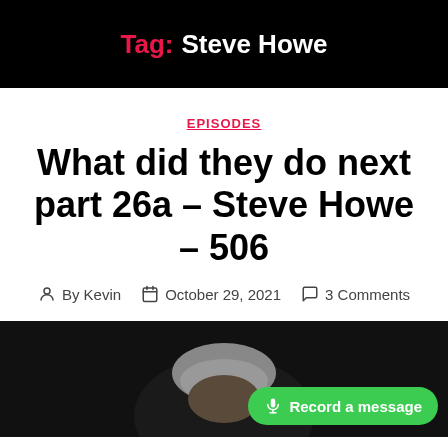Tag: Steve Howe
EPISODES
What did they do next part 26a – Steve Howe – 506
By Kevin  October 29, 2021  3 Comments
[Figure (photo): Partial photo of a person with grey/white hair against a dark background, with a green 'Record a message' button overlay]